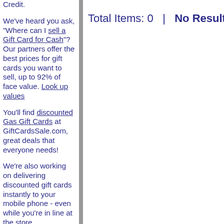Credit.
We've heard you ask, "Where can I sell a Gift Card for Cash"? Our partners offer the best prices for gift cards you want to sell, up to 92% of face value. Look up values
You'll find discounted Gas Gift Cards at GiftCardsSale.com, great deals that everyone needs!
We're also working on delivering discounted gift cards instantly to your mobile phone - even while you're in line at the store.
Total Items: 0   |   No Results Found